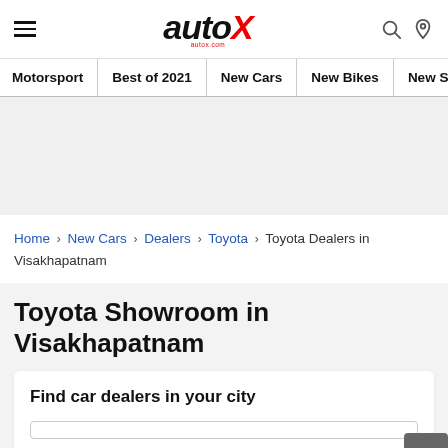autoX — autox.com
Motorsport | Best of 2021 | New Cars | New Bikes | New Scoo
[Figure (other): Gray advertisement banner placeholder area]
Home > New Cars > Dealers > Toyota > Toyota Dealers in Visakhapatnam
Toyota Showroom in Visakhapatnam
Find car dealers in your city